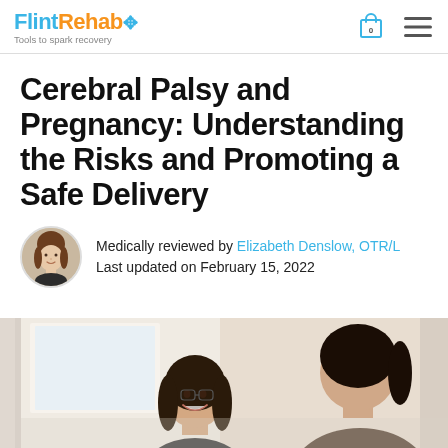FlintRehab – Tools to spark recovery
Cerebral Palsy and Pregnancy: Understanding the Risks and Promoting a Safe Delivery
Medically reviewed by Elizabeth Denslow, OTR/L
Last updated on February 15, 2022
[Figure (photo): Two women sitting together, one smiling with long dark hair, appearing to be in a consultation or conversation setting]